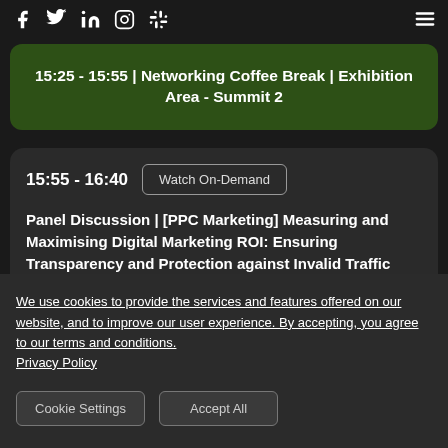Social media icons and hamburger menu navigation bar
15:25 - 15:55 | Networking Coffee Break | Exhibition Area - Summit 2
15:55 - 16:40
Watch On-Demand
Panel Discussion | [PPC Marketing] Measuring and Maximising Digital Marketing ROI: Ensuring Transparency and Protection against Invalid Traffic
We use cookies to provide the services and features offered on our website, and to improve our user experience. By accepting, you agree to our terms and conditions. Privacy Policy
Cookie Settings
Accept All